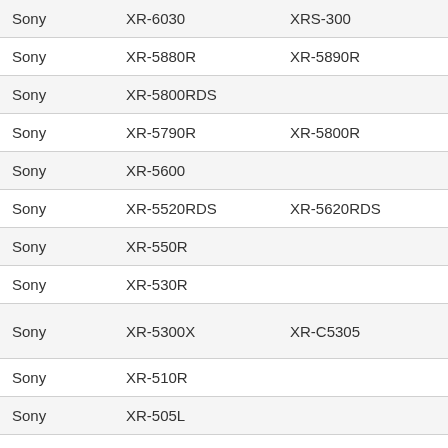| Sony | XR-6030 | XRS-300 |  |
| Sony | XR-5880R | XR-5890R |  |
| Sony | XR-5800RDS |  |  |
| Sony | XR-5790R | XR-5800R |  |
| Sony | XR-5600 |  |  |
| Sony | XR-5520RDS | XR-5620RDS |  |
| Sony | XR-550R |  |  |
| Sony | XR-530R |  |  |
| Sony | XR-5300X | XR-C5305 | XR-C5600X |
| Sony | XR-510R |  |  |
| Sony | XR-505L |  |  |
| Sony | XR-4950X |  |  |